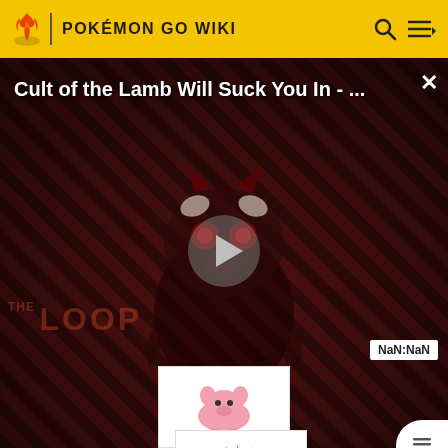POKÉMON GO WIKI
[Figure (screenshot): Video thumbnail overlay: 'Cult of the Lamb Will Suck You In - ...' with THE LOOP branding, a creature mascot, play button, and NaN:NaN timestamp badge on dark diagonal-striped background]
[Figure (illustration): Pink Pokémon sprite (Snubbull/similar) in white card]
#211
Qwilfish
[Figure (illustration): Red dragon-type Pokémon sprite with sword in white card]